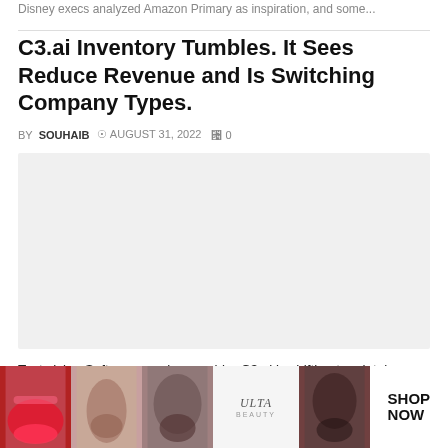Disney execs analyzed Amazon Primary as inspiration, and some...
C3.ai Inventory Tumbles. It Sees Reduce Revenue and Is Switching Company Types.
BY SOUHAIB  ⊙ AUGUST 31, 2022  ⌂ 0
[Figure (photo): Large light grey placeholder image block]
Text sizing Software service provider C3.ai is shifting to a intake-primarily based business model like Amazon Net Pro[ducts] and services [...] corpora[te]
[Figure (photo): Advertisement overlay at the bottom showing beauty/makeup images and ULTA logo with SHOP NOW button and CLOSE button]